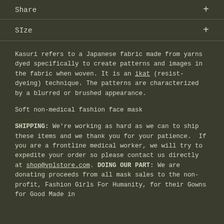Share
SIze
Kasuri refers to a Japanese fabric made from yarns dyed specifically to create patterns and images in the fabric when woven. It is an ikat (resist-dyeing) technique. The patterns are characterized by a blurred or brushed appearance.
Soft non-medical fashion face mask
SHIPPING: We're working as hard as we can to ship these items and we thank you for your patience.  If you are a frontline medical worker, we will try to expedite your order so please contact us directly at shop@vplstore.com. DOING OUR PART: We are donating proceeds from all mask sales to the non-profit, Fashion Girls For Humanity, for their Gowns for Good Made in